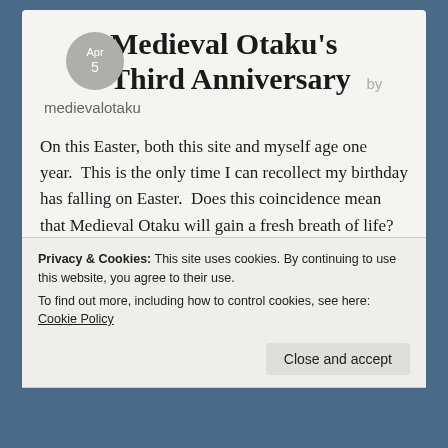Medieval Otaku’s Third Anniversary by medievalotaku
On this Easter, both this site and myself age one year.  This is the only time I can recollect my birthday has falling on Easter.  Does this coincidence mean that Medieval Otaku will gain a fresh breath of life?  That I shall set a new and vigorous posting schedule for my third year as a
Privacy & Cookies: This site uses cookies. By continuing to use this website, you agree to their use.
To find out more, including how to control cookies, see here: Cookie Policy
Close and accept